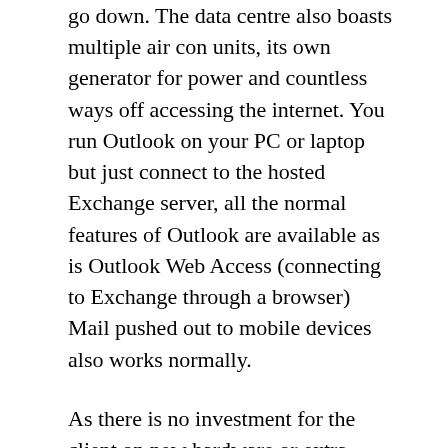go down. The data centre also boasts multiple air con units, its own generator for power and countless ways off accessing the internet. You run Outlook on your PC or laptop but just connect to the hosted Exchange server, all the normal features of Outlook are available as is Outlook Web Access (connecting to Exchange through a browser) Mail pushed out to mobile devices also works normally.
As there is no investment for the client on new hardware or extra Exchange licences, its a very low start up cost. You simply pay an amount per user per month, this also means that should you have seasonal workers or a large contract where you need to pull extra people into the